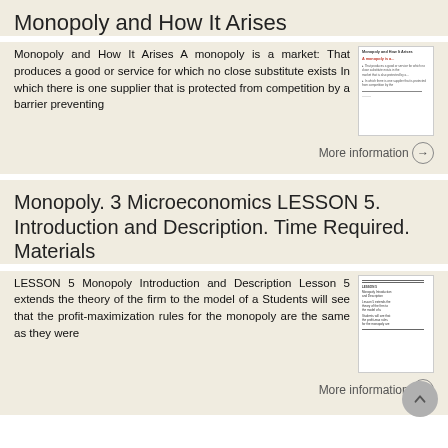Monopoly and How It Arises
Monopoly and How It Arises A monopoly is a market: That produces a good or service for which no close substitute exists In which there is one supplier that is protected from competition by a barrier preventing
More information →
Monopoly. 3 Microeconomics LESSON 5. Introduction and Description. Time Required. Materials
LESSON 5 Monopoly Introduction and Description Lesson 5 extends the theory of the firm to the model of a Students will see that the profit-maximization rules for the monopoly are the same as they were
More information →